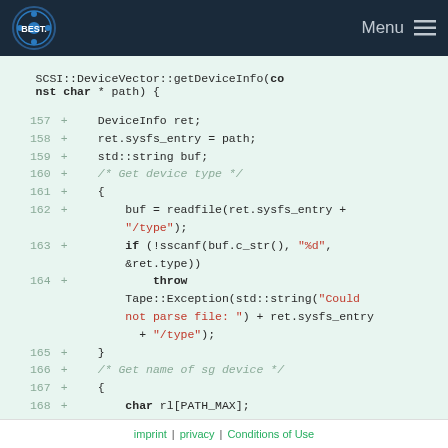BEST logo | Menu
SCSI::DeviceVector::getDeviceInfo(const char * path) {
157 +   DeviceInfo ret;
158 +   ret.sysfs_entry = path;
159 +   std::string buf;
160 +   /* Get device type */
161 +   {
162 +       buf = readfile(ret.sysfs_entry + "/type");
163 +       if (!sscanf(buf.c_str(), "%d", &ret.type))
164 +           throw Tape::Exception(std::string("Could not parse file: ") + ret.sysfs_entry + "/type");
165 +   }
166 +   /* Get name of sg device */
167 +   {
168 +       char rl[PATH_MAX];
169 +       std::string ln = ret.sysfs_entry
imprint | privacy | Conditions of Use